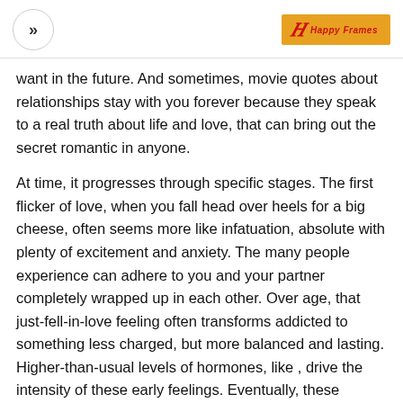>> [navigation] | Happy Frames [logo]
want in the future. And sometimes, movie quotes about relationships stay with you forever because they speak to a real truth about life and love, that can bring out the secret romantic in anyone.
At time, it progresses through specific stages. The first flicker of love, when you fall head over heels for a big cheese, often seems more like infatuation, absolute with plenty of excitement and anxiety. The many people experience can adhere to you and your partner completely wrapped up in each other. Over age, that just-fell-in-love feeling often transforms addicted to something less charged, but more balanced and lasting. Higher-than-usual levels of hormones, like , drive the intensity of these early feelings. Eventually, these heaving feelings often settle into a deeper affection with the help of oxytocin , a hormone that plays a role in attachment.